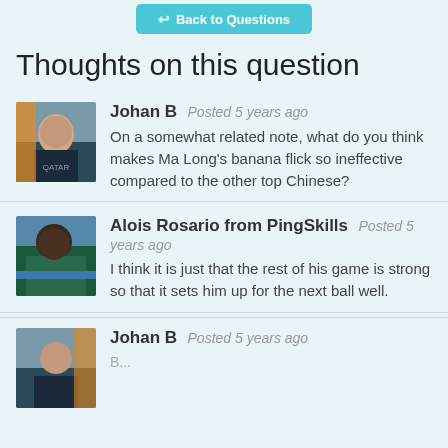[Figure (screenshot): Back to Questions button - teal/cyan rounded rectangle button with back arrow icon]
Thoughts on this question
[Figure (photo): Avatar photo of Johan B - person playing table tennis]
Johan B Posted 5 years ago
On a somewhat related note, what do you think makes Ma Long's banana flick so ineffective compared to the other top Chinese?
[Figure (photo): Avatar photo of Alois Rosario from PingSkills - person leaning over table tennis table]
Alois Rosario from PingSkills Posted 5 years ago
I think it is just that the rest of his game is strong so that it sets him up for the next ball well.
[Figure (photo): Avatar photo of Johan B - person playing table tennis]
Johan B Posted 5 years ago